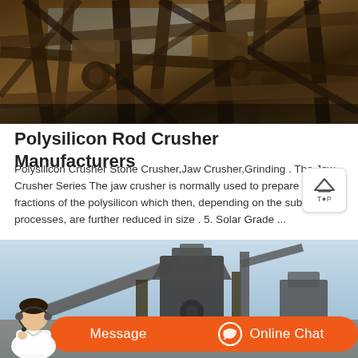[Figure (photo): Industrial crusher machinery with metal frame and mechanical components, viewed from below at an angle]
Polysilicon Rod Crusher Manufacturers
Polysilicon Crusher Stone Crusher,Jaw Crusher,Grinding . The Jaw Crusher Series The jaw crusher is normally used to prepare different fractions of the polysilicon which then, depending on the subsequent processes, are further reduced in size . 5. Solar Grade ...
[Figure (photo): Industrial stone crushing machinery and conveyor equipment outdoors against a blue sky, with a customer service representative and chat buttons overlaid at the bottom]